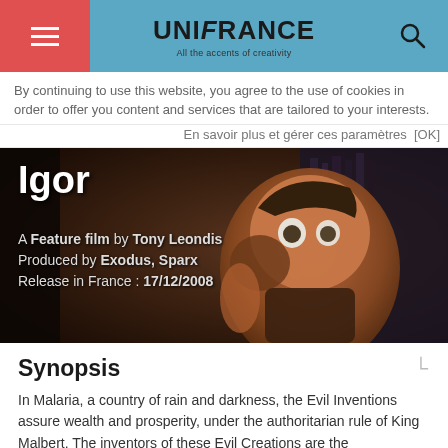UNIFRANCE — All the accents of creativity
By continuing to use this website, you agree to the use of cookies in order to offer you content and services that are tailored to your interests.
En savoir plus et gérer ces paramètres  [OK]
[Figure (photo): Animated character Igor from the movie, dark fantasy setting with bookshelves in background]
Igor
A Feature film by Tony Leondis
Produced by Exodus, Sparx
Release in France : 17/12/2008
Synopsis
In Malaria, a country of rain and darkness, the Evil Inventions assure wealth and prosperity, under the authoritarian rule of King Malbert. The inventors of these Evil Creations are the